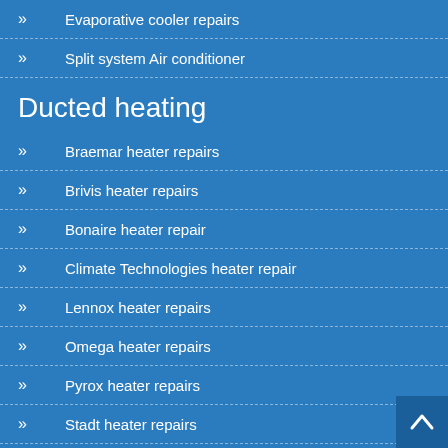Evaporative cooler repairs
Split system Air conditioner
Ducted heating
Braemar heater repairs
Brivis heater repairs
Bonaire heater repair
Climate Technologies heater repair
Lennox heater repairs
Omega heater repairs
Pyrox heater repairs
Stadt heater repairs
Vulcan heater repairs